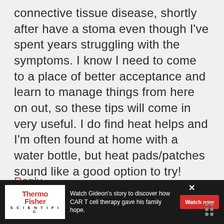connective tissue disease, shortly after have a stoma even though I've spent years struggling with the symptoms. I know I need to come to a place of better acceptance and learn to manage things from here on out, so these tips will come in very useful. I do find heat helps and I'm often found at home with a water bottle, but heat pads/patches sound like a good option to try! Thanks to everyone for sharing their tips 🙂
Reply
[Figure (other): Advertisement banner for ThermoFisher Scientific featuring text: Watch Gideon's story to discover how CAR T cell therapy gave his family hope. With a red Watch now button.]